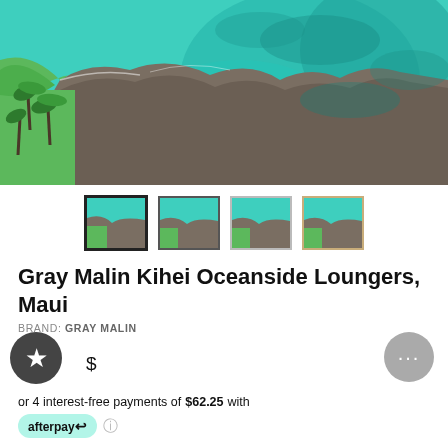[Figure (photo): Aerial view of Hawaiian coastline with green grass, palm trees, rocky shore, and vivid turquoise ocean water]
[Figure (photo): Four thumbnail variants of the same Kihei Oceanside aerial photo shown in different frame styles]
Gray Malin Kihei Oceanside Loungers, Maui
BRAND: GRAY MALIN
or 4 interest-free payments of $62.25 with
afterpay